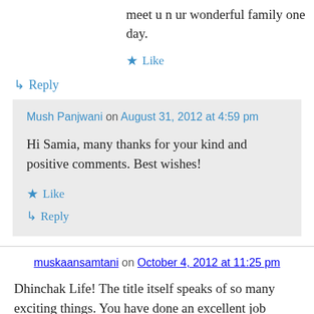meet u n ur wonderful family one day.
★ Like
↳ Reply
Mush Panjwani on August 31, 2012 at 4:59 pm
Hi Samia, many thanks for your kind and positive comments. Best wishes!
★ Like
↳ Reply
muskaansamtani on October 4, 2012 at 11:25 pm
Dhinchak Life! The title itself speaks of so many exciting things. You have done an excellent job